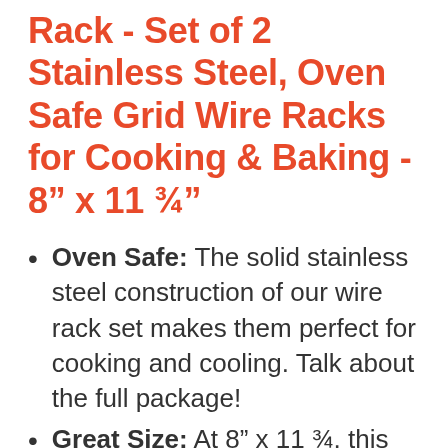Rack - Set of 2 Stainless Steel, Oven Safe Grid Wire Racks for Cooking & Baking - 8" x 11 ¾"
Oven Safe: The solid stainless steel construction of our wire rack set makes them perfect for cooking and cooling. Talk about the full package!
Great Size: At 8" x 11 ¾, this oven rack set will fit in most standard ovens and cookware sheets. You can slide them over your pan to elevate your food from fat and